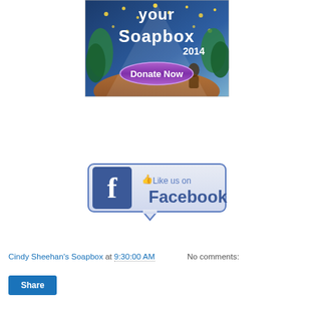[Figure (illustration): Colorful illustrated banner for 'Cindy Sheehan's Soapbox 2014' with a 'Donate Now' button. Features a night sky with stars, trees, and a figure. Text reads 'your Soapbox 2014' with a purple oval Donate Now button.]
[Figure (illustration): Facebook 'Like us on Facebook' button/badge. Blue square with 'f' logo on left, thumbs up icon and text 'Like us on Facebook' on the right, with a speech bubble pointer at the bottom.]
Cindy Sheehan's Soapbox at 9:30:00 AM    No comments:
Share